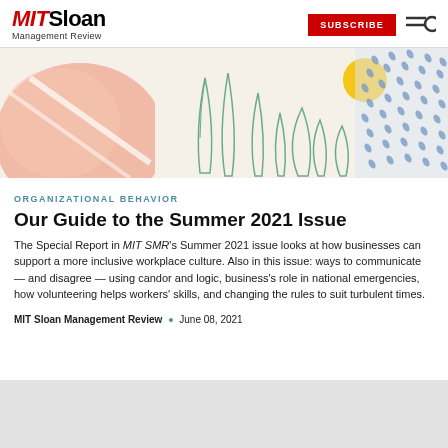MIT Sloan Management Review — SUBSCRIBE
[Figure (illustration): Decorative banner illustration with pastel botanical elements: a coral/peach abstract shape on the left, green line-drawn leaves in the center, a yellow circle (sun) upper right, and blue dotted pattern on the right, on a cream background.]
ORGANIZATIONAL BEHAVIOR
Our Guide to the Summer 2021 Issue
The Special Report in MIT SMR's Summer 2021 issue looks at how businesses can support a more inclusive workplace culture. Also in this issue: ways to communicate — and disagree — using candor and logic, business's role in national emergencies, how volunteering helps workers' skills, and changing the rules to suit turbulent times.
MIT Sloan Management Review • June 08, 2021